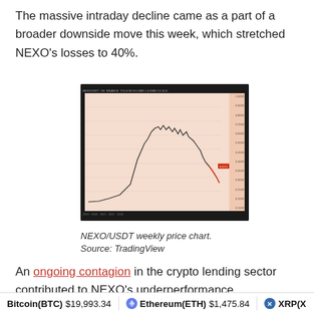The massive intraday decline came as a part of a broader downside move this week, which stretched NEXO's losses to 40%.
[Figure (continuous-plot): NEXO/USDT weekly price chart from TradingView showing a line chart with a rise and fall pattern on a light pinkish-beige background with dark borders. The price rises sharply, peaks with some volatility, then declines sharply toward the right side where a red price tag marker is visible.]
NEXO/USDT weekly price chart. Source: TradingView
An ongoing contagion in the crypto lending sector contributed to NEXO's underperformance.
Bitcoin(BTC) $19,993.34   Ethereum(ETH) $1,475.84   XRP(X